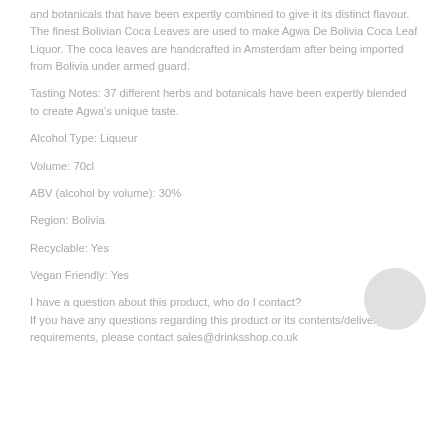and botanicals that have been expertly combined to give it its distinct flavour. The finest Bolivian Coca Leaves are used to make Agwa De Bolivia Coca Leaf Liquor. The coca leaves are handcrafted in Amsterdam after being imported from Bolivia under armed guard.
Tasting Notes: 37 different herbs and botanicals have been expertly blended to create Agwa's unique taste.
Alcohol Type: Liqueur
Volume: 70cl
ABV (alcohol by volume): 30%
Region: Bolivia
Recyclable: Yes
Vegan Friendly: Yes
I have a question about this product, who do I contact? If you have any questions regarding this product or its contents/delivery requirements, please contact sales@drinksshop.co.uk
[Figure (other): A small circular grey placeholder image in the bottom-right area]